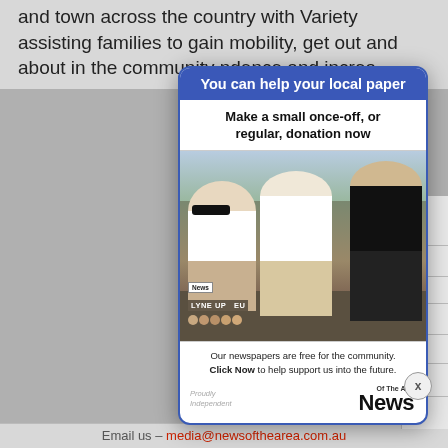and town across the country with Variety assisting families to gain mobility, get out and about in the community … ndence and increa…
[Figure (infographic): Modal popup advertisement for News of the Area local paper. Blue header reads 'You can help your local paper', subheading 'Make a small once-off, or regular, donation now', photo of three young people holding newspapers outdoors, caption text 'Our newspapers are free for the community. Click Now to help support us into the future.', logo at bottom with 'Proudly Independent' and 'News Of The Area' branding. Close button (X) at bottom right.]
Email us – media@newsofthearea.com.au